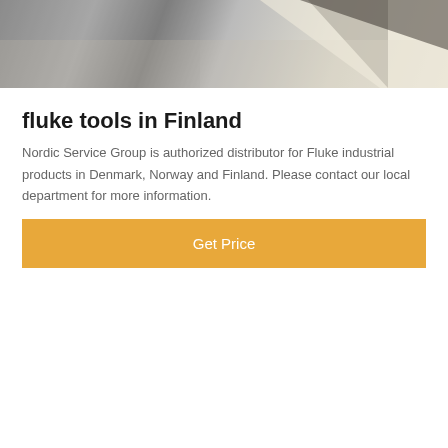[Figure (photo): Top portion of an outdoor scene showing pavement, gravel, and shadows from above]
fluke tools in Finland
Nordic Service Group is authorized distributor for Fluke industrial products in Denmark, Norway and Finland. Please contact our local department for more information.
Get Price
[Figure (photo): Building exterior with yellow facade elements and a customer service representative avatar overlay, scroll-to-top button, and bottom bar with Leave Message and Chat Online options]